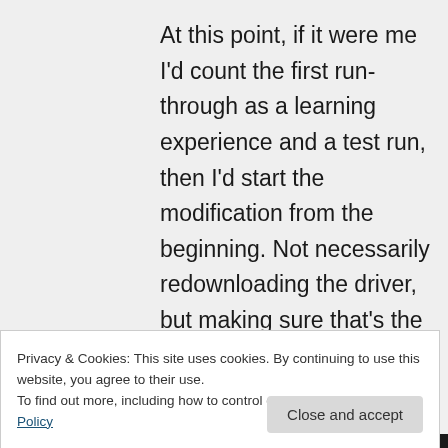At this point, if it were me I'd count the first run-through as a learning experience and a test run, then I'd start the modification from the beginning. Not necessarily redownloading the driver, but making sure that's the one you want, opening it in Notepad and making certain
Privacy & Cookies: This site uses cookies. By continuing to use this website, you agree to their use.
To find out more, including how to control cookies, see here: Cookie Policy
Close and accept